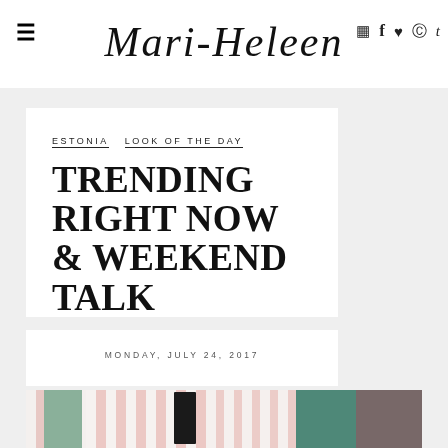≡   Mari-Heleen   📷 f ♥ p t
ESTONIA   LOOK OF THE DAY
TRENDING RIGHT NOW & WEEKEND TALK
MONDAY, JULY 24, 2017
[Figure (photo): Woman in black top and white skirt standing in front of colorful striped building with green and pink doors]